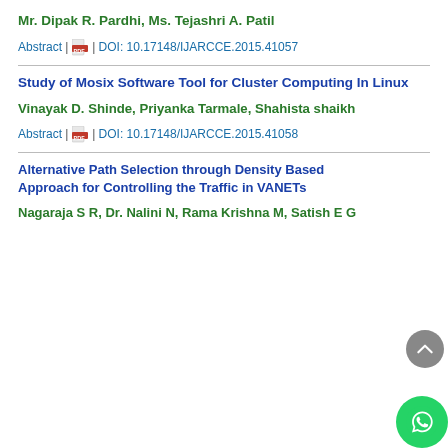Mr. Dipak R. Pardhi, Ms. Tejashri A. Patil
Abstract | PDF | DOI: 10.17148/IJARCCE.2015.41057
Study of Mosix Software Tool for Cluster Computing In Linux
Vinayak D. Shinde, Priyanka Tarmale, Shahista shaikh
Abstract | PDF | DOI: 10.17148/IJARCCE.2015.41058
Alternative Path Selection through Density Based Approach for Controlling the Traffic in VANETs
Nagaraja S R, Dr. Nalini N, Rama Krishna M, Satish E G